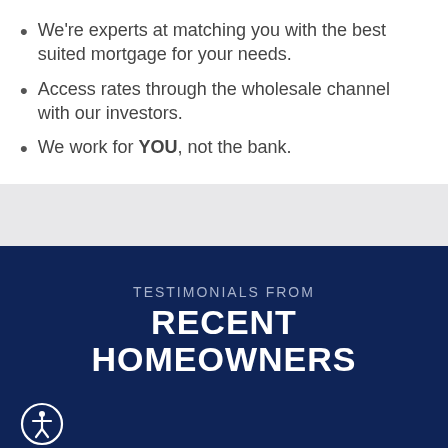We're experts at matching you with the best suited mortgage for your needs.
Access rates through the wholesale channel with our investors.
We work for YOU, not the bank.
TESTIMONIALS FROM RECENT HOMEOWNERS